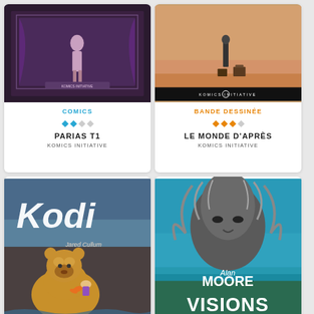[Figure (illustration): Book cover card for PARIAS T1 - dark theatrical illustration with a figure, purple/mauve tones. Category: COMICS, 2 filled blue stars out of 4. Publisher: KOMICS INITIATIVE]
[Figure (illustration): Book cover card for LE MONDE D'APRÈS - desert scene with figure and luggage. Category: BANDE DESSINÉE, 3 filled orange stars out of 4. Publisher: KOMICS INITIATIVE]
[Figure (illustration): Book cover for Kodi by Jared Cullum - illustrated bear and child, colorful children's book style]
[Figure (illustration): Book cover for Alan Moore Visions - dramatic creature/tree figure against blue sky]